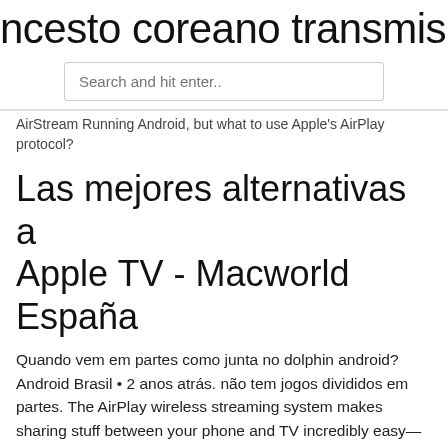ncesto coreano transmisión en vivo
Search and hit enter..
AirStream Running Android, but what to use Apple's AirPlay protocol?
Las mejores alternativas a Apple TV - Macworld España
Quando vem em partes como junta no dolphin android? Android Brasil • 2 anos atrás. não tem jogos divididos em partes. The AirPlay wireless streaming system makes sharing stuff between your phone and TV incredibly easy—but only if stick with Apple gadgets. Try to share content from an Android and suddenly you're out of luck. But with these third-party streaming apps, Airplay and Try balenaSound, a starter project to quickly and easily add Bluetooth, Airplay and Spotify Connect and multi-room capability to an old Hi-Fi, speakers, or any other audio device using only a Raspberry Pi! How to